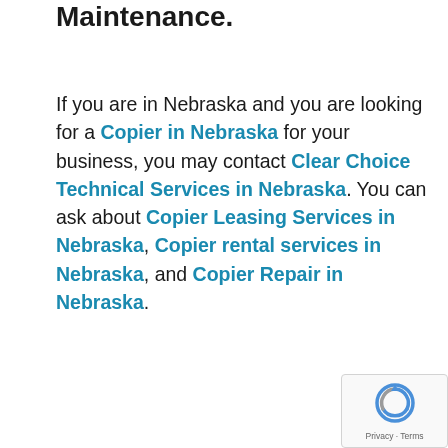Maintenance.
If you are in Nebraska and you are looking for a Copier in Nebraska for your business, you may contact Clear Choice Technical Services in Nebraska. You can ask about Copier Leasing Services in Nebraska, Copier rental services in Nebraska, and Copier Repair in Nebraska.